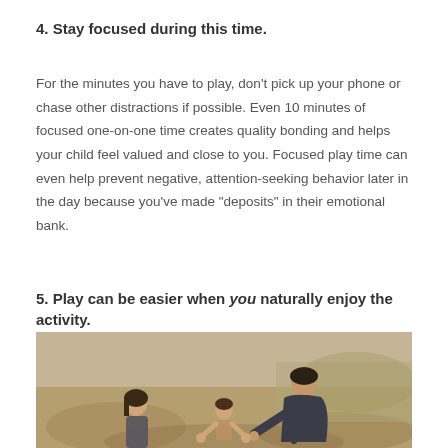4. Stay focused during this time.
For the minutes you have to play, don’t pick up your phone or chase other distractions if possible. Even 10 minutes of focused one-on-one time creates quality bonding and helps your child feel valued and close to you. Focused play time can even help prevent negative, attention-seeking behavior later in the day because you’ve made “deposits” in their emotional bank.
5. Play can be easier when you naturally enjoy the activity.
[Figure (photo): A man and woman playing with a young child outdoors in a field setting]